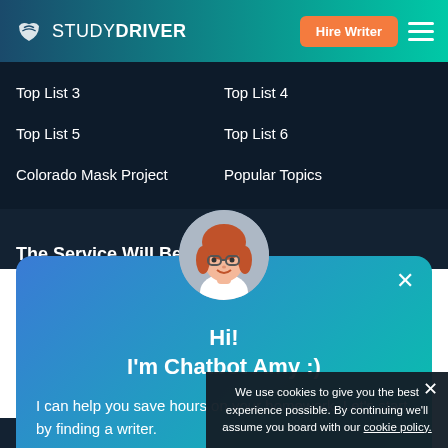STUDYDRIVER — Hire Writer
Top List 3
Top List 4
Top List 5
Top List 6
Colorado Mask Project
Popular Topics
The Service Will Be Use...
[Figure (illustration): Chatbot Amy avatar: cartoon woman with red hair, glasses, and white shirt in a circular frame]
Hi!
I'm Chatbot Amy :)
I can help you save hours on your homework. Let's start by finding a writer.
Find Writer
We use cookies to give you the best experience possible. By continuing we'll assume you board with our cookie policy.